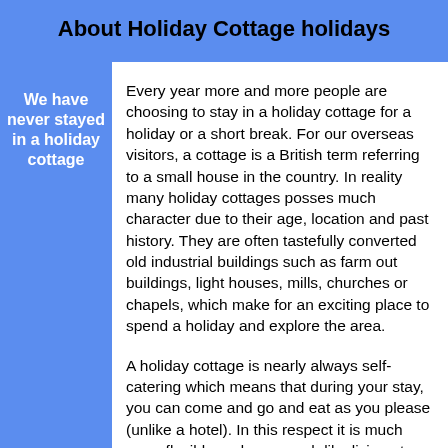About Holiday Cottage holidays
We have never stayed in a holiday cottage
Every year more and more people are choosing to stay in a holiday cottage for a holiday or a short break. For our overseas visitors, a cottage is a British term referring to a small house in the country. In reality many holiday cottages posses much character due to their age, location and past history. They are often tastefully converted old industrial buildings such as farm out buildings, light houses, mills, churches or chapels, which make for an exciting place to spend a holiday and explore the area.
A holiday cottage is nearly always self-catering which means that during your stay, you can come and go and eat as you please (unlike a hotel). In this respect it is much more flexible and very much like living at home and hence the term, holiday home or home from home.